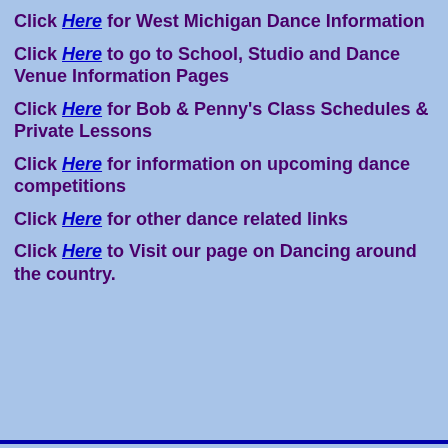Click Here for West Michigan Dance Information
Click Here to go to School, Studio and Dance Venue Information Pages
Click Here for Bob & Penny's Class Schedules & Private Lessons
Click Here for information on upcoming dance competitions
Click Here for other dance related links
Click Here to Visit our page on Dancing around the country.